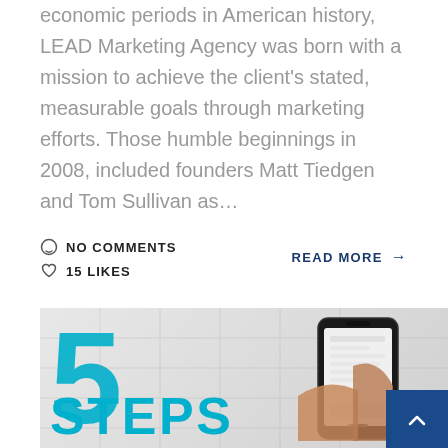economic periods in American history, LEAD Marketing Agency was born with a mission to achieve the client's stated, measurable goals through marketing efforts. Those humble beginnings in 2008, included founders Matt Tiedgen and Tom Sullivan as...
NO COMMENTS
15 LIKES
READ MORE →
[Figure (photo): Photo showing a large cyan number '5' on the left, a hand holding a smartphone showing a social media or app screen, and cyan text 'STEPS' partially visible at the bottom, with a blue back-to-top button overlay in the bottom-right corner.]